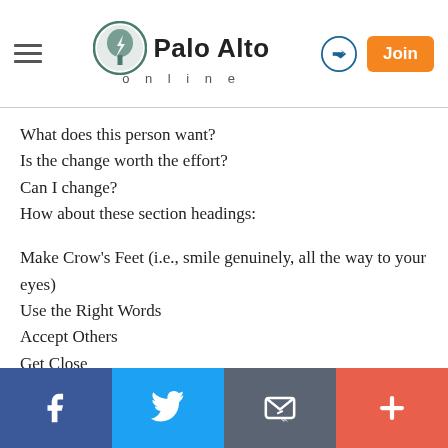Palo Alto online
What does this person want?
Is the change worth the effort?
Can I change?
How about these section headings:

Make Crow's Feet (i.e., smile genuinely, all the way to your eyes)
Use the Right Words
Accept Others
Get Close
Don't Impose Your Values
Pursue Your Passions
Find Shared Passions
Facebook | Twitter | Email | More